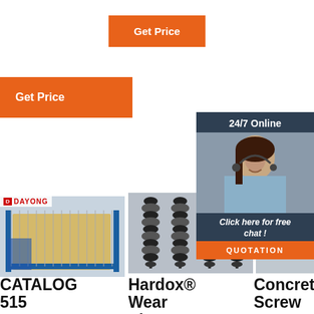[Figure (other): Orange 'Get Price' button, top center]
[Figure (other): Orange 'Get Price' button, top left]
[Figure (other): 24/7 Online chat widget with female customer service agent photo, 'Click here for free chat!' and QUOTATION button]
[Figure (other): Dayong branded industrial screw conveyor / pallet machine photo]
[Figure (other): Four black spiral screw conveyor components on gray background]
[Figure (other): Partial third product image (gray)]
CATALOG 515 SCREW CONVEYOR
Hardox® Wear Plate- Wear And Abrasion
Concrete Screw Conveyors In Dubai - Yellow